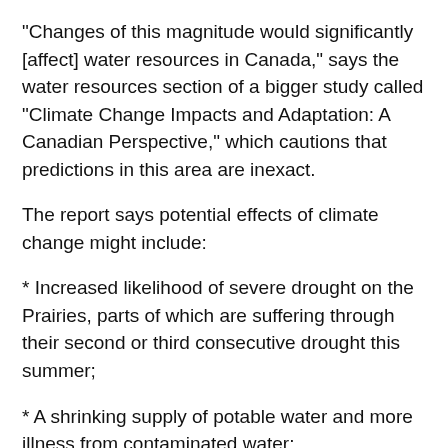“Changes of this magnitude would significantly [affect] water resources in Canada,” says the water resources section of a bigger study called “Climate Change Impacts and Adaptation: A Canadian Perspective,” which cautions that predictions in this area are inexact.
The report says potential effects of climate change might include:
* Increased likelihood of severe drought on the Prairies, parts of which are suffering through their second or third consecutive drought this summer;
* A shrinking supply of potable water and more illness from contaminated water;
* Ruined fish habitat and spawning areas and possible loss of species;